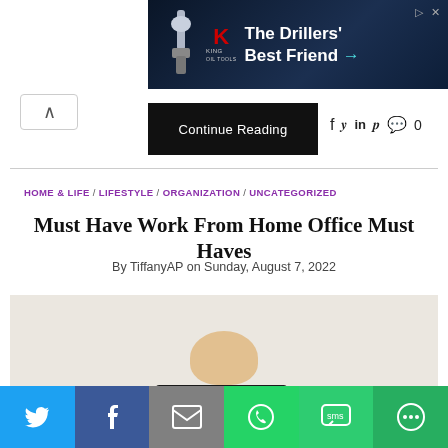[Figure (photo): King Oil Tools advertisement banner with dark blue background showing the King logo and text 'The Drillers' Best Friend →']
Continue Reading
f  y  in  p  💬 0
HOME & LIFE  /  LIFESTYLE  /  ORGANIZATION  /  UNCATEGORIZED
Must Have Work From Home Office Must Haves
By TiffanyAP on Sunday, August 7, 2022
[Figure (photo): Photo of a person sitting behind a Dell laptop, visible from shoulders up with head partially visible above the laptop screen]
[Figure (infographic): Bottom social sharing bar with Twitter (blue), Facebook (dark blue), Email (grey), WhatsApp (green), SMS (green), and More (dark green) buttons]